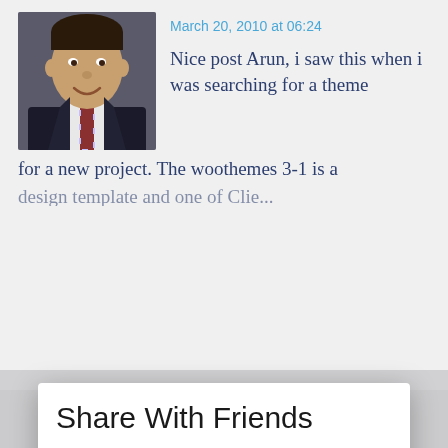March 20, 2010 at 06:24
Nice post Arun, i saw this when i was searching for a theme for a new project. The woothemes 3-1 is a
[Figure (photo): Profile photo of a man in a dark suit and striped tie, smiling]
Share With Friends
Facebook
Twitter
LinkedIn
Gmail